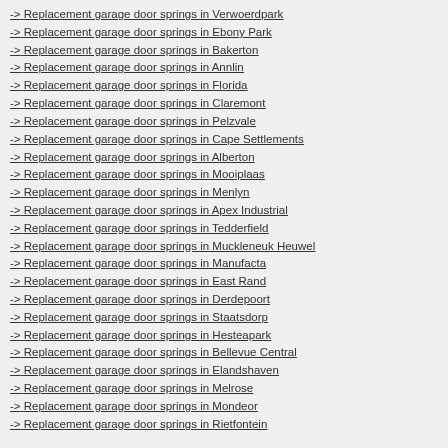-> Replacement garage door springs in Verwoerdpark
-> Replacement garage door springs in Ebony Park
-> Replacement garage door springs in Bakerton
-> Replacement garage door springs in Annlin
-> Replacement garage door springs in Florida
-> Replacement garage door springs in Claremont
-> Replacement garage door springs in Pelzvale
-> Replacement garage door springs in Cape Settlements
-> Replacement garage door springs in Alberton
-> Replacement garage door springs in Mooiplaas
-> Replacement garage door springs in Menlyn
-> Replacement garage door springs in Apex Industrial
-> Replacement garage door springs in Tedderfield
-> Replacement garage door springs in Muckleneuk Heuwel
-> Replacement garage door springs in Manufacta
-> Replacement garage door springs in East Rand
-> Replacement garage door springs in Derdepoort
-> Replacement garage door springs in Staatsdorp
-> Replacement garage door springs in Hesteapark
-> Replacement garage door springs in Bellevue Central
-> Replacement garage door springs in Elandshaven
-> Replacement garage door springs in Melrose
-> Replacement garage door springs in Mondeor
-> Replacement garage door springs in Rietfontein